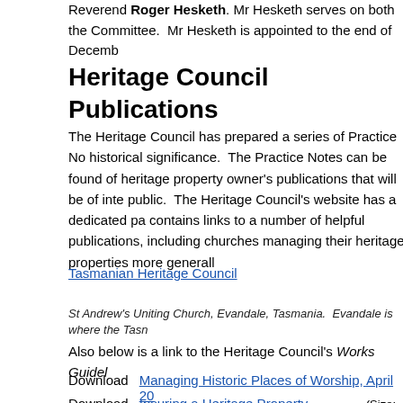Reverend Roger Hesketh. Mr Hesketh serves on both the Committee. Mr Hesketh is appointed to the end of Decemb
Heritage Council Publications
The Heritage Council has prepared a series of Practice No historical significance. The Practice Notes can be found of heritage property owner's publications that will be of inte public. The Heritage Council's website has a dedicated pa contains links to a number of helpful publications, including churches managing their heritage properties more generall
Tasmanian Heritage Council
St Andrew's Uniting Church, Evandale, Tasmania. Evandale is where the Tasn
Also below is a link to the Heritage Council's Works Guidel
Download  Managing Historic Places of Worship, April 20
Download  Insuring a Heritage Property 2018.pdf (Size: 40